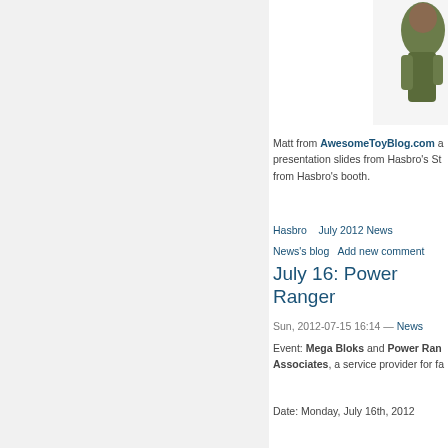[Figure (photo): Partial image of a toy/action figure in green/olive color, cropped at top-right of page]
Matt from AwesomeToyBlog.com a presentation slides from Hasbro's St from Hasbro's booth.
Hasbro    July 2012 News
News's blog    Add new comment
July 16: Power Ranger
Sun, 2012-07-15 16:14 — News
Event: Mega Bloks and Power Ran Associates, a service provider for fa
Date: Monday, July 16th, 2012